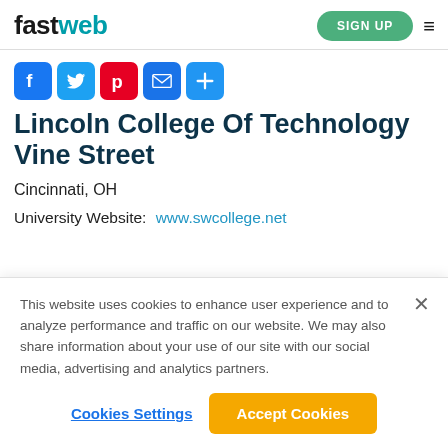fastweb | SIGN UP
[Figure (other): Social share icons: Facebook, Twitter, Pinterest, Email, Plus]
Lincoln College Of Technology Vine Street
Cincinnati, OH
University Website: www.swcollege.net
This website uses cookies to enhance user experience and to analyze performance and traffic on our website. We may also share information about your use of our site with our social media, advertising and analytics partners.
Cookies Settings
Accept Cookies